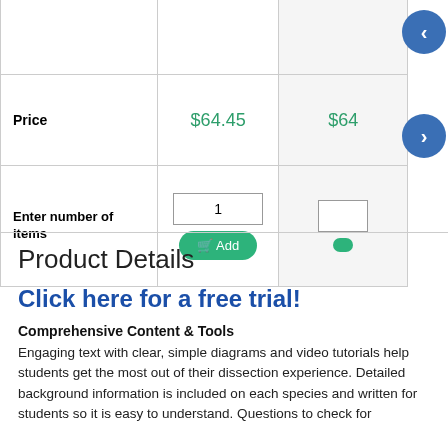|  | Column 1 | Column 2 |
| --- | --- | --- |
|  |  |  |
| Price | $64.45 | $64 |
| Enter number of items | 1 [input] Add | [input] |
Product Details
Click here for a free trial!
Comprehensive Content & Tools
Engaging text with clear, simple diagrams and video tutorials help students get the most out of their dissection experience. Detailed background information is included on each species and written for students so it is easy to understand. Questions to check for